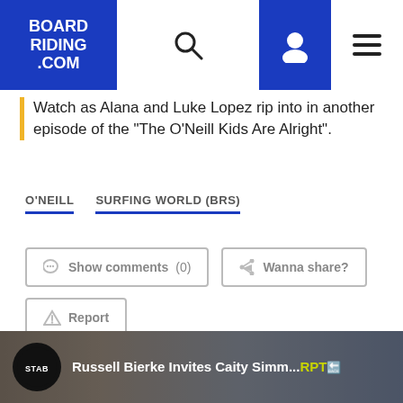BOARD RIDING .COM
Watch as Alana and Luke Lopez rip into in another episode of the “The O’Neill Kids Are Alright”.
O'NEILL
SURFING WORLD (BRS)
Show comments (0)
Wanna share?
Report
Stab
Russell Bierke Invites Caity Simm... RPT